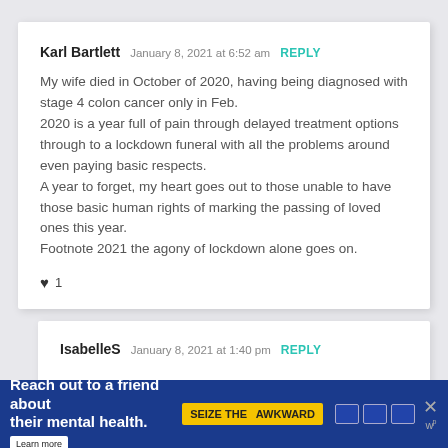Karl Bartlett  January 8, 2021 at 6:52 am  REPLY
My wife died in October of 2020, having being diagnosed with stage 4 colon cancer only in Feb.
2020 is a year full of pain through delayed treatment options through to a lockdown funeral with all the problems around even paying basic respects.
A year to forget, my heart goes out to those unable to have those basic human rights of marking the passing of loved ones this year.
Footnote 2021 the agony of lockdown alone goes on.
♥ 1
IsabelleS  January 8, 2021 at 1:40 pm  REPLY
[Figure (screenshot): Advertisement banner: 'Reach out to a friend about their mental health. Learn more' with 'SEIZE THE AWKWARD' badge in yellow, ad council logos, and close button with 'w' logo.]